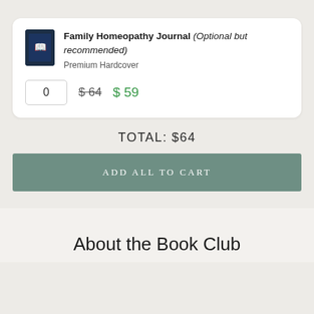Family Homeopathy Journal (Optional but recommended) — Premium Hardcover
0  $ 64  $ 59
TOTAL: $64
ADD ALL TO CART
About the Book Club